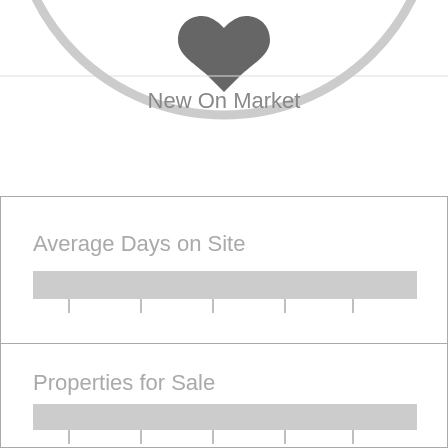[Figure (other): Partial donut/circle chart showing 'New On Market' label, with a heart icon at the top center. Only the bottom portion of the circle is visible, cropped at the top of the page.]
[Figure (bar-chart): A single horizontal bar chart showing Average Days on Site. One long gray bar spanning nearly full width, with tick marks below.]
[Figure (bar-chart): A single horizontal bar chart showing Properties for Sale. One long gray bar spanning nearly full width, with tick marks below.]